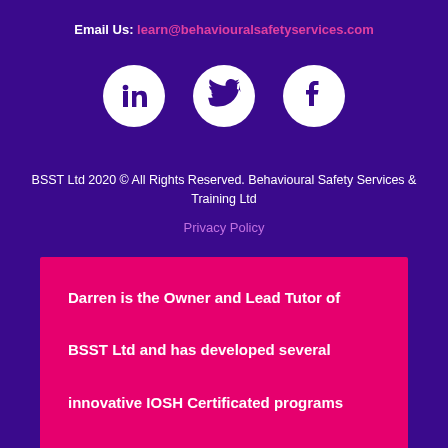Email Us: learn@behaviouralsafetyservices.com
[Figure (illustration): Three social media icons (LinkedIn, Twitter, Facebook) displayed as white circles on purple background]
BSST Ltd 2020 © All Rights Reserved. Behavioural Safety Services & Training Ltd
Privacy Policy
Darren is the Owner and Lead Tutor of BSST Ltd and has developed several innovative IOSH Certificated programs which focus on performance, leadership and behaviour. These include Behavioural